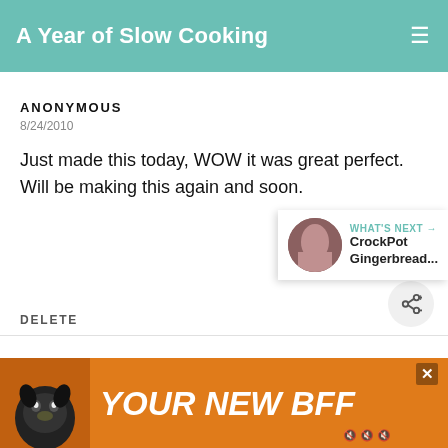A Year of Slow Cooking
ANONYMOUS
8/24/2010
Just made this today, WOW it was great perfect. Will be making this again and soon.
DELETE
WHAT'S NEXT → CrockPot Gingerbread...
UNKNOWN
6/12/2012
[Figure (illustration): Advertisement banner: orange background with dog image and text YOUR NEW BFF]